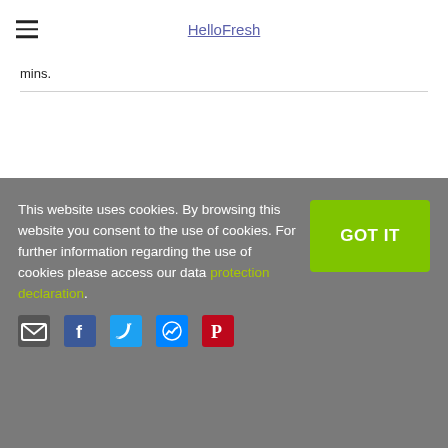HelloFresh
mins.
This website uses cookies. By browsing this website you consent to the use of cookies. For further information regarding the use of cookies please access our data protection declaration.
[Figure (infographic): Social sharing icons: email, Facebook, Twitter, Messenger, Pinterest]